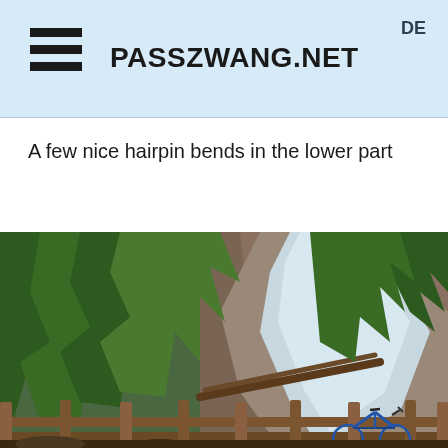PASSZWANG.NET | DE
A few nice hairpin bends in the lower part
[Figure (photo): Mountain waterfall scene with conifer trees on a steep rocky hillside, a bicycle leaning against a wooden railing fence in the foreground, and a rushing stream/waterfall descending the rocky slope in the background.]